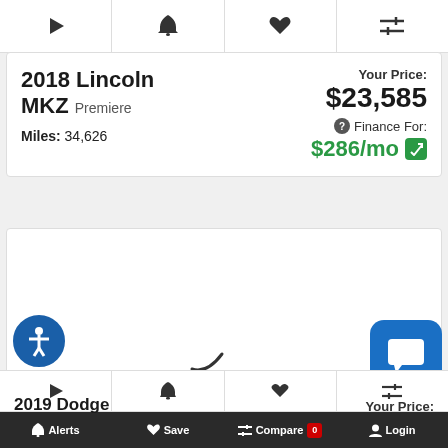[Figure (screenshot): Top icon bar with play, bell, heart, and compare/filter icons]
2018 Lincoln MKZ Premiere
Miles: 34,626
Your Price: $23,585
Finance For: $286/mo
[Figure (screenshot): Loading spinner arc in second car listing card]
[Figure (screenshot): Accessibility icon button (blue circle with person symbol)]
[Figure (screenshot): Chat button (blue rounded square with chat icon)]
[Figure (screenshot): Second icon bar with play, bell, heart, filter icons]
Alerts  Save  Compare 0  Login
2019 Dodge  Your Price: